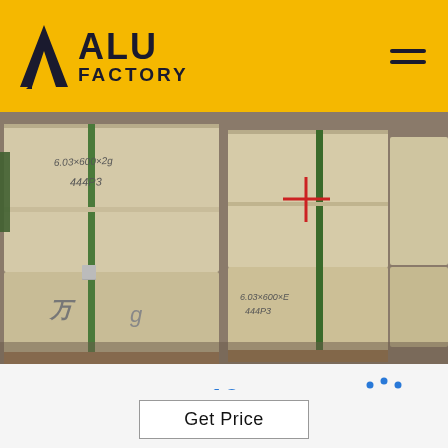ALU FACTORY
[Figure (photo): Warehouse photo showing stacked wooden crates/pallets with handwritten labels, banded with green straps in an industrial storage facility]
10
United Metaltek (Hangzhou) Co. Limited is a leading pro...
Get Price